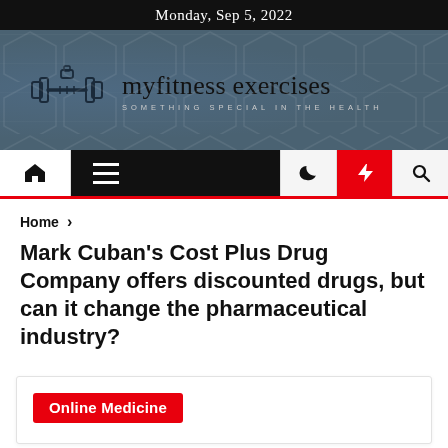Monday, Sep 5, 2022
[Figure (logo): myfitness exercises logo with dumbbell icon and tagline 'SOMETHING SPECIAL IN THE HEALTH']
Home > Mark Cuban's Cost Plus Drug Company offers discounted drugs, but can it change the pharmaceutical industry?
Mark Cuban's Cost Plus Drug Company offers discounted drugs, but can it change the pharmaceutical industry?
Online Medicine